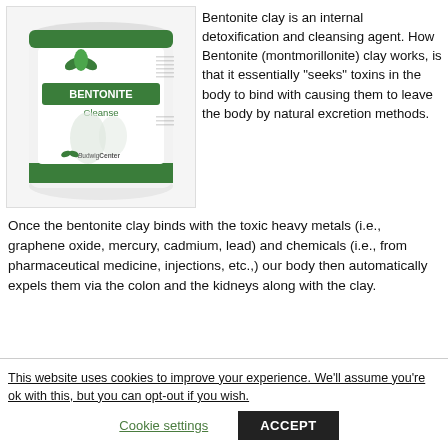[Figure (photo): Product photo of a white cylindrical container labeled 'BENTONITE Cleanse' with green leaf logo and BudwigCenter branding]
Bentonite clay is an internal detoxification and cleansing agent. How Bentonite (montmorillonite) clay works, is that it essentially "seeks" toxins in the body to bind with causing them to leave the body by natural excretion methods.
Once the bentonite clay binds with the toxic heavy metals (i.e., graphene oxide, mercury, cadmium, lead) and chemicals (i.e., from pharmaceutical medicine, injections, etc.,) our body then automatically expels them via the colon and the kidneys along with the clay.
This website uses cookies to improve your experience. We'll assume you're ok with this, but you can opt-out if you wish.
Cookie settings
ACCEPT